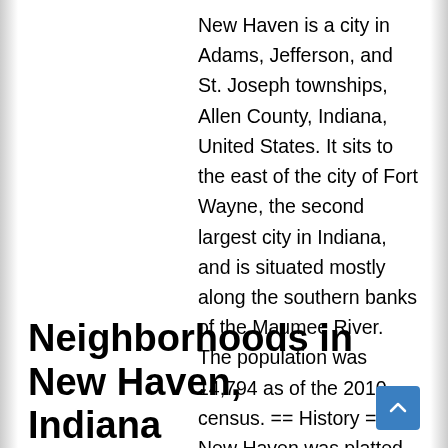New Haven is a city in Adams, Jefferson, and St. Joseph townships, Allen County, Indiana, United States. It sits to the east of the city of Fort Wayne, the second largest city in Indiana, and is situated mostly along the southern banks of the Maumee River. The population was 14,794 as of the 2010 census. == History == New Haven was platted in 1839 by Henry Burgess and was incorporated as a town under Indiana law in 1865.
Neighborhoods in New Haven, Indiana